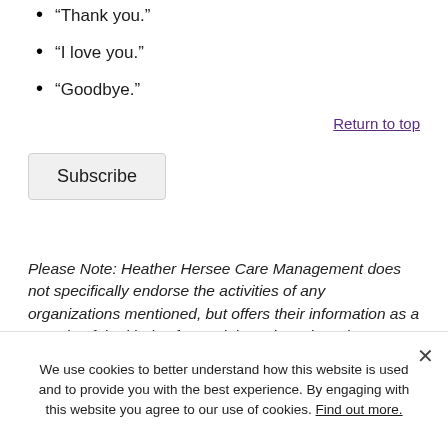“Thank you.”
“I love you.”
“Goodbye.”
Return to top
Subscribe
Please Note: Heather Hersee Care Management does not specifically endorse the activities of any organizations mentioned, but offers their information as a sample of the kinds of materials and services that are available.
We use cookies to better understand how this website is used and to provide you with the best experience. By engaging with this website you agree to our use of cookies. Find out more.